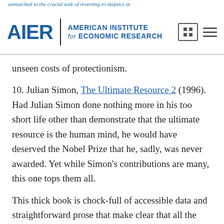AIER | AMERICAN INSTITUTE for ECONOMIC RESEARCH
unseen costs of protectionism.
10. Julian Simon, The Ultimate Resource 2 (1996). Had Julian Simon done nothing more in his too short life other than demonstrate that the ultimate resource is the human mind, he would have deserved the Nobel Prize that he, sadly, was never awarded. Yet while Simon’s contributions are many, this one tops them all.
This thick book is chock-full of accessible data and straightforward prose that make clear that all the many worries that people have about population growth, immigration, resource depletion, and environmental degradation are either completely unwarranted or